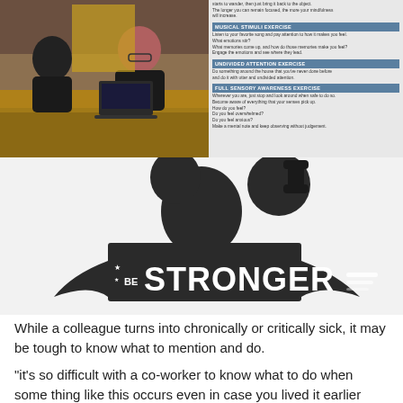[Figure (photo): Two people sitting across a desk in a modern office setting with wood paneling, one person working on a laptop]
[Figure (infographic): Right panel with exercise descriptions: Musical Stimuli Exercise, Undivided Attention Exercise, Full Sensory Awareness Exercise on a light gray background]
[Figure (illustration): Silhouette of a muscular person lifting a dumbbell with 'BE STRONGER' text integrated into the illustration]
While a colleague turns into chronically or critically sick, it may be tough to know what to mention and do.
“it’s so difficult with a co-worker to know what to do when some thing like this occurs even in case you lived it earlier